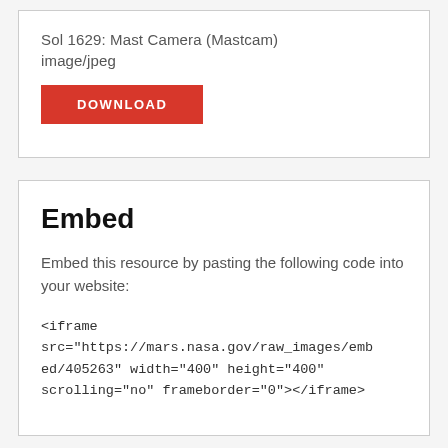Sol 1629: Mast Camera (Mastcam)
image/jpeg
DOWNLOAD
Embed
Embed this resource by pasting the following code into your website:
<iframe src="https://mars.nasa.gov/raw_images/embed/405263" width="400" height="400" scrolling="no" frameborder="0"></iframe>